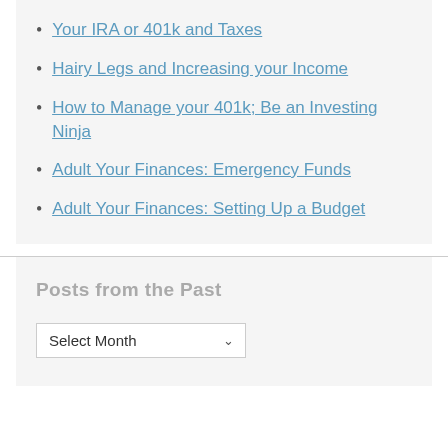Your IRA or 401k and Taxes
Hairy Legs and Increasing your Income
How to Manage your 401k; Be an Investing Ninja
Adult Your Finances: Emergency Funds
Adult Your Finances: Setting Up a Budget
Posts from the Past
Select Month